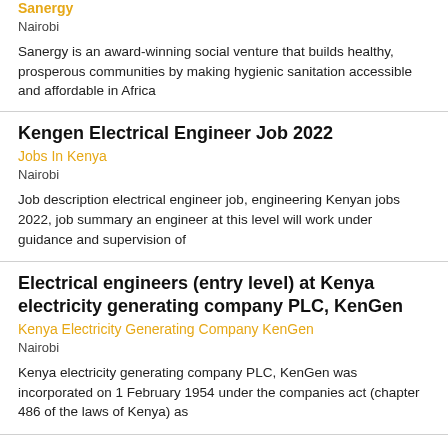Sanergy
Nairobi
Sanergy is an award-winning social venture that builds healthy, prosperous communities by making hygienic sanitation accessible and affordable in Africa
Kengen Electrical Engineer Job 2022
Jobs In Kenya
Nairobi
Job description electrical engineer job, engineering Kenyan jobs 2022, job summary an engineer at this level will work under guidance and supervision of
Electrical engineers (entry level) at Kenya electricity generating company PLC, KenGen
Kenya Electricity Generating Company KenGen
Nairobi
Kenya electricity generating company PLC, KenGen was incorporated on 1 February 1954 under the companies act (chapter 486 of the laws of Kenya) as
Property Manager Job at Corporate Staffing 2022
Jobs In Kenya
Nairobi